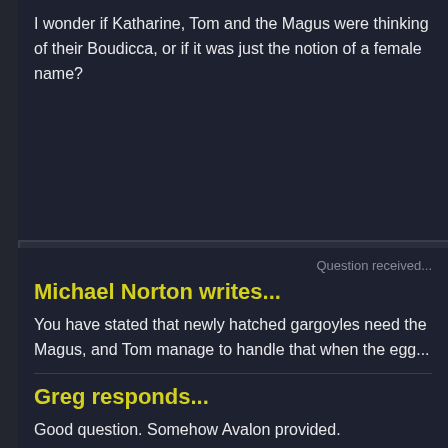I wonder if Katharine, Tom and the Magus were thinking of their Boudicca, or if it was just the notion of a female name?
Question received...
Michael Norton writes...
You have stated that newly hatched gargoyles need t... Magus, and Tom manage to handle that when the eg...
Greg responds...
Good question. Somehow Avalon provided.
Chapter XI: "Long Way To Morning"
"Long Way To Morning" This was my title, based on a...